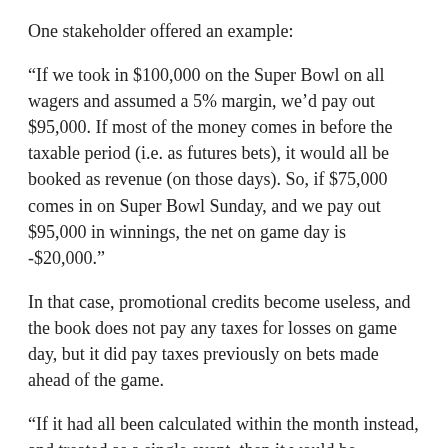One stakeholder offered an example:
“If we took in $100,000 on the Super Bowl on all wagers and assumed a 5% margin, we’d pay out $95,000. If most of the money comes in before the taxable period (i.e. as futures bets), it would all be booked as revenue (on those days). So, if $75,000 comes in on Super Bowl Sunday, and we pay out $95,000 in winnings, the net on game day is -$20,000.”
In that case, promotional credits become useless, and the book does not pay any taxes for losses on game day, but it did pay taxes previously on bets made ahead of the game.
“If it had all been calculated within the month instead, and treated as a single event, then it would be $100,000 in wagers, $95,000 paid out, and $5,000 in taxable profit,” the stakeholder said. That amounts to the book paying $500 in taxes on the $5,000 win based on a 10% tax rate. But the way